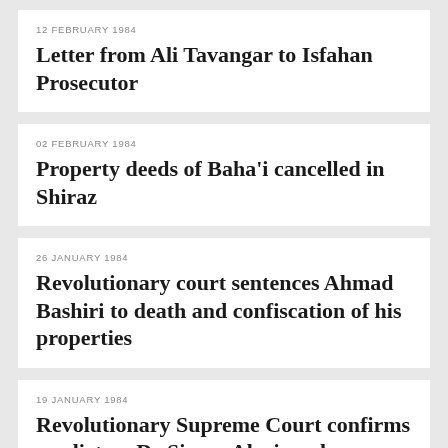12 FEBRUARY 1984
Letter from Ali Tavangar to Isfahan Prosecutor
02 FEBRUARY 1984
Property deeds of Baha'i cancelled in Shiraz
26 JANUARY 1984
Revolutionary court sentences Ahmad Bashiri to death and confiscation of his properties
19 JANUARY 1984
Revolutionary Supreme Court confirms verdict on Dr Sirous Alaei, and confiscation of his assets
26 DECEMBER 1983
Confiscation of property...